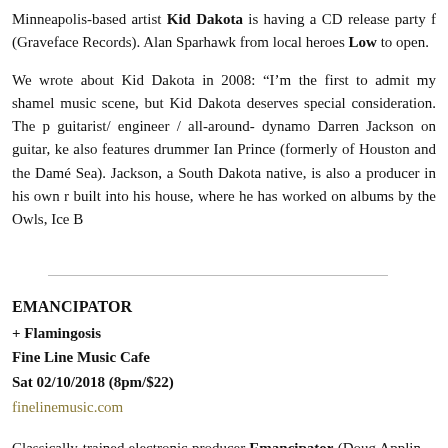Minneapolis-based artist Kid Dakota is having a CD release party f (Graveface Records). Alan Sparhawk from local heroes Low to open.
We wrote about Kid Dakota in 2008: “I’m the first to admit my shamel music scene, but Kid Dakota deserves special consideration. The p guitarist/ engineer / all-around- dynamo Darren Jackson on guitar, ke also features drummer Ian Prince (formerly of Houston and the Dam Sea). Jackson, a South Dakota native, is also a producer in his own r built into his house, where he has worked on albums by the Owls, Ice B
EMANCIPATOR
+ Flamingosis
Fine Line Music Cafe
Sat 02/10/2018 (8pm/$22)
finelinemusic.com
Classically-trained electronic producer Emancipator (Doug Applin Music Café on Saturday, February 10, in support of his #1 iTunes B Records).